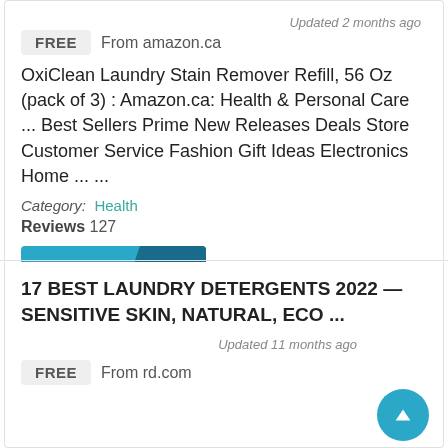Updated 2 months ago
FREE  From amazon.ca
OxiClean Laundry Stain Remover Refill, 56 Oz (pack of 3) : Amazon.ca: Health & Personal Care ... Best Sellers Prime New Releases Deals Store Customer Service Fashion Gift Ideas Electronics Home ... ...
Category: Health
Reviews 127
Get Code
17 BEST LAUNDRY DETERGENTS 2022 — SENSITIVE SKIN, NATURAL, ECO ...
Updated 11 months ago
FREE  From rd.com